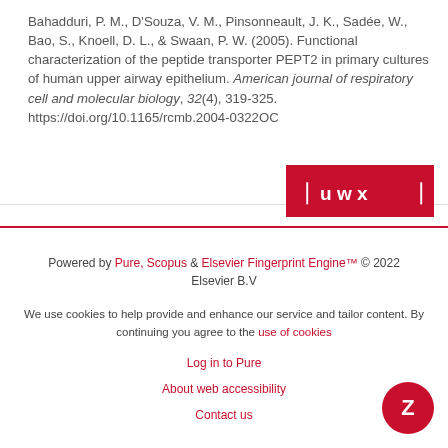Bahadduri, P. M., D'Souza, V. M., Pinsonneault, J. K., Sadée, W., Bao, S., Knoell, D. L., & Swaan, P. W. (2005). Functional characterization of the peptide transporter PEPT2 in primary cultures of human upper airway epithelium. American journal of respiratory cell and molecular biology, 32(4), 319-325. https://doi.org/10.1165/rcmb.2004-0322OC
[Figure (logo): UWX badge - red rectangle with bracket symbols and letters u w x]
Powered by Pure, Scopus & Elsevier Fingerprint Engine™ © 2022 Elsevier B.V
We use cookies to help provide and enhance our service and tailor content. By continuing you agree to the use of cookies
Log in to Pure
About web accessibility
Contact us